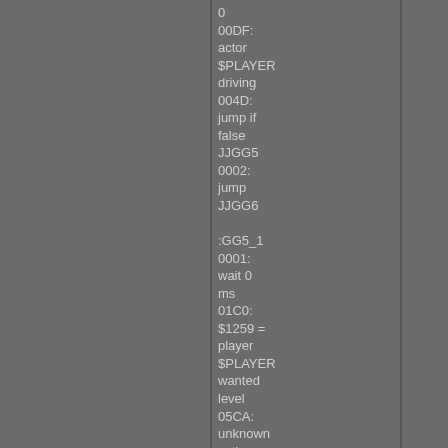0
00DF: actor $PLAYER driving
004D: jump if false JJGG5
0002: jump JJGG6

:GG5_1
0001: wait 0 ms
01C0: $1259 = player $PLAYER wanted level
05CA: unknown action sequence $PLAYER $RCAR 0 1
02EB: restore camera with jumpcut
010D: set